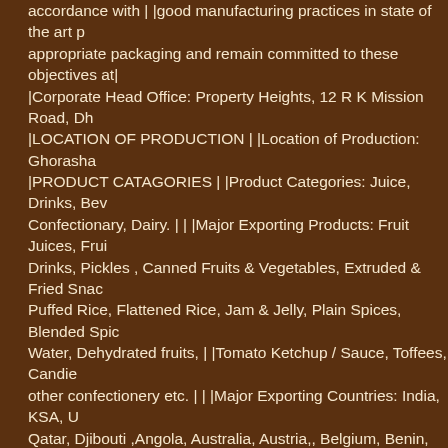accordance with | |good manufacturing practices in state of the art p appropriate packaging and remain committed to these objectives at| |Corporate Head Office: Property Heights, 12 R K Mission Road, Dh |LOCATION OF PRODUCTION | |Location of Production: Ghorasha |PRODUCT CATAGORIES | |Product Categories: Juice, Drinks, Bev Confectionary, Dairy. | | |Major Exporting Products: Fruit Juices, Frui Drinks, Pickles , Canned Fruits & Vegetables, Extruded & Fried Snac Puffed Rice, Flattened Rice, Jam & Jelly, Plain Spices, Blended Spic Water, Dehydrated fruits, | |Tomato Ketchup / Sauce, Toffees, Candie other confectionery etc. | | |Major Exporting Countries: India, KSA, U Qatar, Djibouti ,Angola, Australia, Austria,, Belgium, Benin, Brunei, B Cameroon, Canada, Capo Verde Islands, Chad, Congo, Eritrea, Equ France, Gabon, Gambia, Germany, Ghana, | |Greece, Guinea, India Korea, Lebanon, Malaysia, Mali, Mauritania, Mauritius, Myanmar, Ma |Antilles, Nepal, Niger, Oman, Pakistan, Palestine, Qatar, RCA, Reu Sierra Leone, Singapore, Srilanka, Sudan, Sweden, | |Switzerland, T 2. 5 Future Plan of the Organization: Like every food & beverage cor Company also has a future plan. According to their plan, this compa performing well.This company is performing very competently. They of their competitors. This activity indicates that t hey want to grab mo day. So the future plan of AMCL Pran Company is to grab the highes couple of years. 2. 6 History of the organization (FRUTIKA): Akij Gro